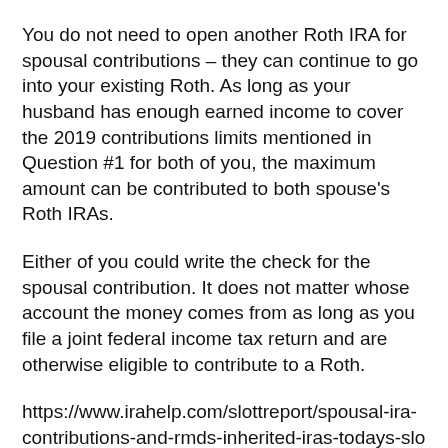You do not need to open another Roth IRA for spousal contributions – they can continue to go into your existing Roth. As long as your husband has enough earned income to cover the 2019 contributions limits mentioned in Question #1 for both of you, the maximum amount can be contributed to both spouse's Roth IRAs.
Either of you could write the check for the spousal contribution. It does not matter whose account the money comes from as long as you file a joint federal income tax return and are otherwise eligible to contribute to a Roth.
https://www.irahelp.com/slottreport/spousal-ira-contributions-and-rmds-inherited-iras-todays-slott-report-mailbag